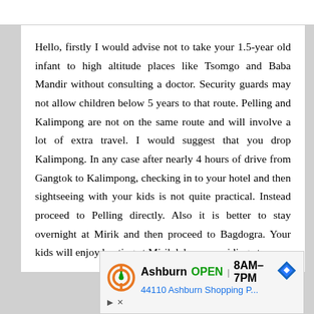Hello, firstly I would advise not to take your 1.5-year old infant to high altitude places like Tsomgo and Baba Mandir without consulting a doctor. Security guards may not allow children below 5 years to that route. Pelling and Kalimpong are not on the same route and will involve a lot of extra travel. I would suggest that you drop Kalimpong. In any case after nearly 4 hours of drive from Gangtok to Kalimpong, checking in to your hotel and then sightseeing with your kids is not quite practical. Instead proceed to Pelling directly. Also it is better to stay overnight at Mirik and then proceed to Bagdogra. Your kids will enjoy boating at Mirik lake, pony riding etc.
[Figure (other): Advertisement banner: Ashburn OPEN 8AM-7PM, 44110 Ashburn Shopping P... with navigation arrow icon and Destination+ logo]